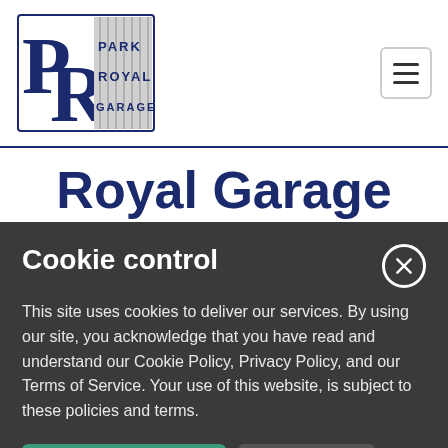[Figure (logo): Park Royal Garage logo with stylized PR letters and text 'PARK ROYAL GARAGE']
Royal Garage
Car Service, Repair
Cookie control
This site uses cookies to deliver our services. By using our site, you acknowledge that you have read and understand our Cookie Policy, Privacy Policy, and our Terms of Service. Your use of this website, is subject to these policies and terms.
Accept and close
More info